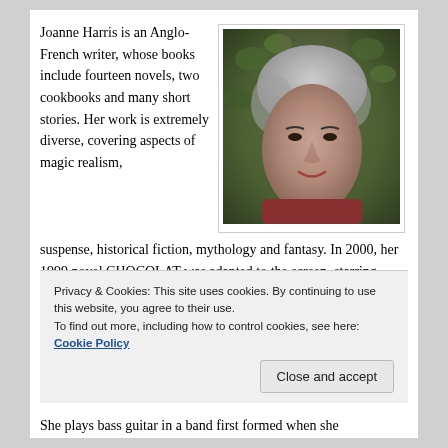Joanne Harris is an Anglo-French writer, whose books include fourteen novels, two cookbooks and many short stories. Her work is extremely diverse, covering aspects of magic realism, suspense, historical fiction, mythology and fantasy. In 2000, her 1999 novel CHOCOLAT was adapted to the screen, starring Juliette Binoche and Johnny Depp.
[Figure (photo): Portrait photograph of Joanne Harris, a middle-aged woman with short grey hair, standing in front of a tree covered with ivy/green leaves.]
Privacy & Cookies: This site uses cookies. By continuing to use this website, you agree to their use. To find out more, including how to control cookies, see here: Cookie Policy
Close and accept
She plays bass guitar in a band first formed when she